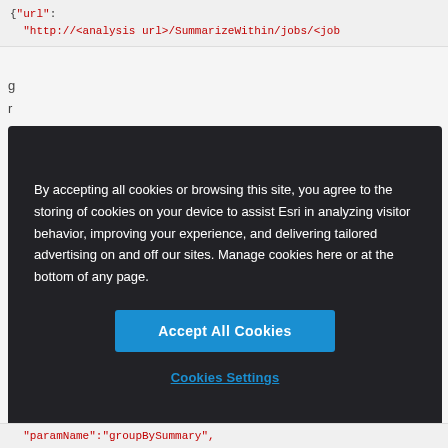{"url": "http://<analysis url>/SummarizeWithin/jobs/<job...
g
r
o
u
p
The result has properties for parameter name, data type, and value depend on the outputName parameter provided in th...
[Figure (screenshot): Dark cookie consent overlay banner with text: 'By accepting all cookies or browsing this site, you agree to the storing of cookies on your device to assist Esri in analyzing visitor behavior, improving your experience, and delivering tailored advertising on and off our sites. Manage cookies here or at the bottom of any page.' with an 'Accept All Cookies' blue button and a 'Cookies Settings' link below.]
"paramName":"groupBySummary",